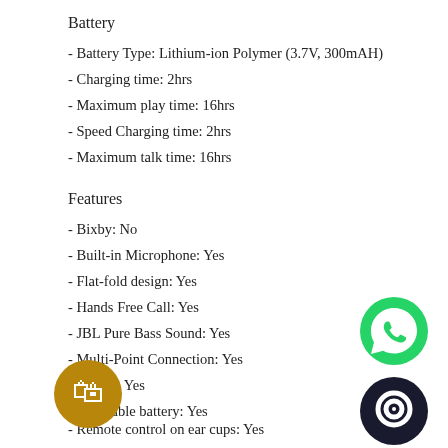Battery
- Battery Type: Lithium-ion Polymer (3.7V, 300mAH)
- Charging time: 2hrs
- Maximum play time: 16hrs
- Speed Charging time: 2hrs
- Maximum talk time: 16hrs
Features
- Bixby: No
- Built-in Microphone: Yes
- Flat-fold design: Yes
- Hands Free Call: Yes
- JBL Pure Bass Sound: Yes
- Multi-Point Connection: Yes
- Caller: Yes
- Rechargeable battery: Yes
- Remote control on ear cups: Yes
- Siri/ Google Now: Yes
[Figure (illustration): WhatsApp green phone icon button]
[Figure (illustration): Dark circular chat/messenger icon button]
[Figure (illustration): Gold/brown shopping cart with heart icon button]